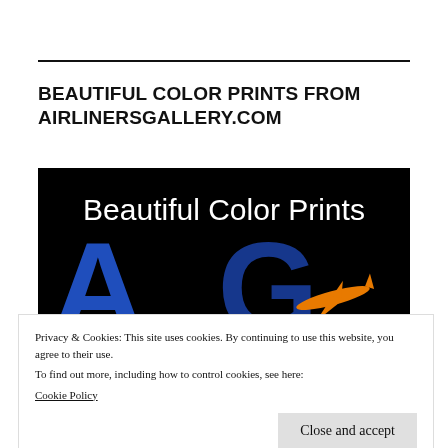BEAUTIFUL COLOR PRINTS FROM AIRLINERSGALLERY.COM
[Figure (logo): Dark background image with 'Beautiful Color Prints' text in white and large 'AG' letters in blue with an orange aircraft silhouette — AirlinersGallery.com logo/banner]
Privacy & Cookies: This site uses cookies. By continuing to use this website, you agree to their use.
To find out more, including how to control cookies, see here:
Cookie Policy
Close and accept
LARGE HISTORICAL COLLECTION